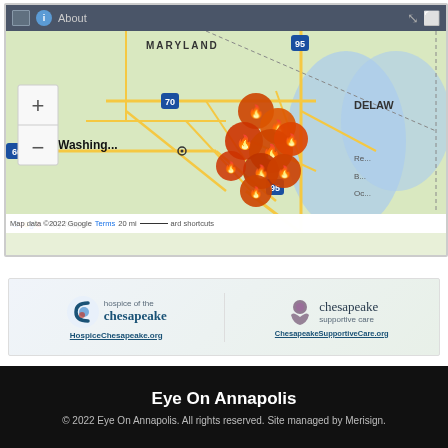[Figure (map): Google My Maps screenshot showing Washington DC and Maryland/Delaware area with multiple orange fire-style map markers clustered in the DC/Baltimore corridor. Map includes zoom controls, road network, and Google My Maps attribution with 20mi scale bar. Shows I-95, I-70, I-66 highways and labels for Washington, Maryland, Delaware regions.]
[Figure (logo): Hospice of the Chesapeake and Chesapeake Supportive Care sponsor banner with logos and URLs: HospiceChesapeake.org and ChesapeakeSupportiveCare.org]
Eye On Annapolis
© 2022 Eye On Annapolis. All rights reserved. Site managed by Merisign.